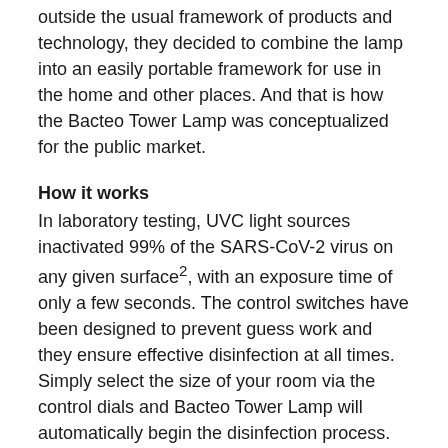outside the usual framework of products and technology, they decided to combine the lamp into an easily portable framework for use in the home and other places. And that is how the Bacteo Tower Lamp was conceptualized for the public market.
How it works
In laboratory testing, UVC light sources inactivated 99% of the SARS-CoV-2 virus on any given surface2, with an exposure time of only a few seconds. The control switches have been designed to prevent guess work and they ensure effective disinfection at all times. Simply select the size of your room via the control dials and Bacteo Tower Lamp will automatically begin the disinfection process. The time needed for the lamp to be on and